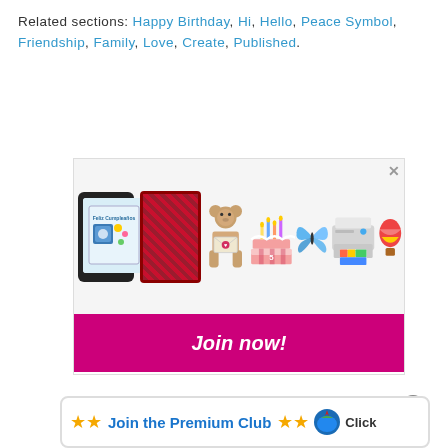Related sections: Happy Birthday, Hi, Hello, Peace Symbol, Friendship, Family, Love, Create, Published.
[Figure (illustration): Promotional ad banner showing birthday-themed items: a tablet with a birthday card, a personalized card reading 'Federico', a teddy bear holding an envelope, a birthday cake, a blue butterfly, a printer, a hot air balloon, with a pink 'Join now!' button bar at the bottom and an X close button.]
[Figure (illustration): Bottom promotional strip with star icons, 'Join the Premium Club' text in blue, star icons, a globe/flag icon, and 'Click' text. Has a circular close button (⊗) above it.]